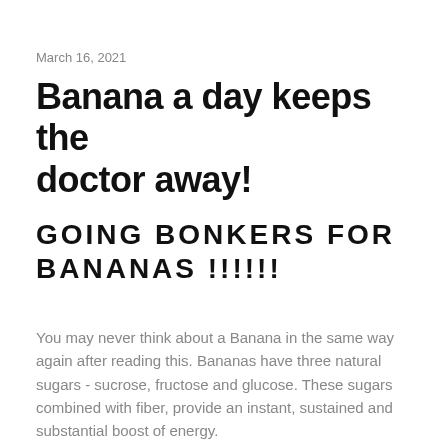March 16, 2021
Banana a day keeps the doctor away!
GOING BONKERS FOR BANANAS !!!!!!
You may never think about a Banana in the same way again after reading this.  Bananas have three natural sugars - sucrose, fructose and glucose.  These sugars combined with fiber, provide an instant, sustained and substantial boost of energy.